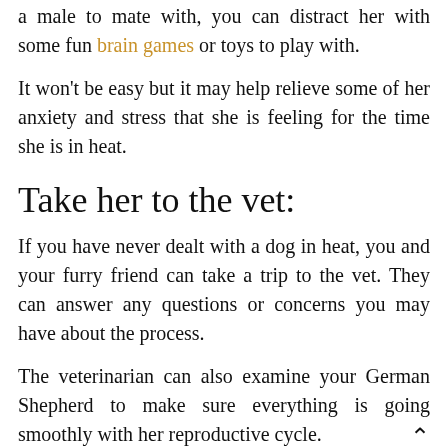a male to mate with, you can distract her with some fun brain games or toys to play with.
It won't be easy but it may help relieve some of her anxiety and stress that she is feeling for the time she is in heat.
Take her to the vet:
If you have never dealt with a dog in heat, you and your furry friend can take a trip to the vet. They can answer any questions or concerns you may have about the process.
The veterinarian can also examine your German Shepherd to make sure everything is going smoothly with her reproductive cycle.
Use dog diapers: